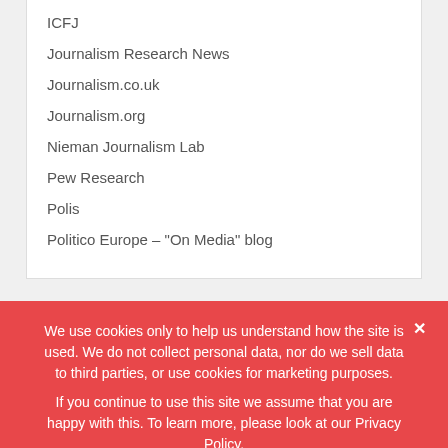ICFJ
Journalism Research News
Journalism.co.uk
Journalism.org
Nieman Journalism Lab
Pew Research
Polis
Politico Europe – "On Media" blog
We use cookies only to help us understand how the site is used. We do not collect personal data, nor do we sell data to third parties, or use cookies for marketing purposes. If you continue to use this site we assume that you are happy with this. To learn more, please look at our Privacy Policy.
Ok   Privacy policy